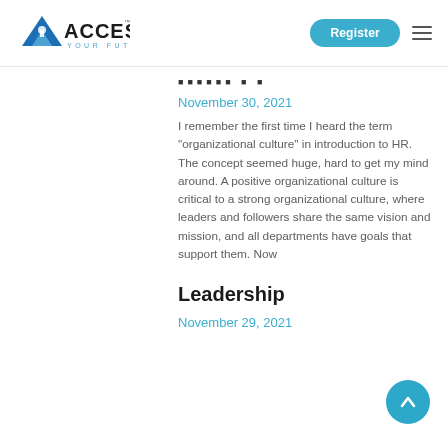[Figure (logo): ACCESS Your Future logo with blue triangle/A icon and black text]
November 30, 2021
I remember the first time I heard the term "organizational culture" in introduction to HR. The concept seemed huge, hard to get my mind around. A positive organizational culture is critical to a strong organizational culture, where leaders and followers share the same vision and mission, and all departments have goals that support them. Now
Leadership
November 29, 2021